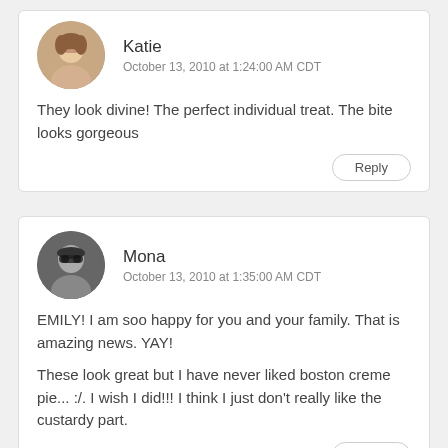Katie
October 13, 2010 at 1:24:00 AM CDT
They look divine! The perfect individual treat. The bite looks gorgeous
Mona
October 13, 2010 at 1:35:00 AM CDT
EMILY! I am soo happy for you and your family. That is amazing news. YAY!

These look great but I have never liked boston creme pie... :/. I wish I did!!! I think I just don't really like the custardy part.